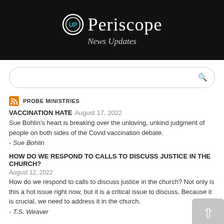[Figure (logo): Periscope News Updates banner logo with circular UP icon on black background]
PROBE MINISTRIES
VACCINATION HATE August 17, 2022
Sue Bohlin's heart is breaking over the unloving, unkind judgment of people on both sides of the Covid vaccination debate.
- Sue Bohlin
HOW DO WE RESPOND TO CALLS TO DISCUSS JUSTICE IN THE CHURCH?
August 12, 2022
How do we respond to calls to discuss justice in the church? Not only is this a hot issue right now, but it is a critical issue to discuss. Because it is crucial, we need to address it in the church.
- T.S. Weaver